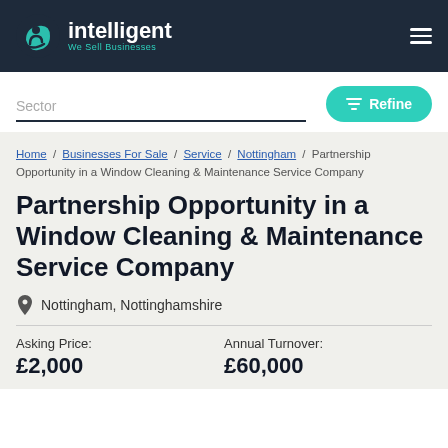intelligent We Sell Businesses
Sector
Refine
Home / Businesses For Sale / Service / Nottingham / Partnership Opportunity in a Window Cleaning & Maintenance Service Company
Partnership Opportunity in a Window Cleaning & Maintenance Service Company
Nottingham, Nottinghamshire
Asking Price: £2,000   Annual Turnover: £60,000